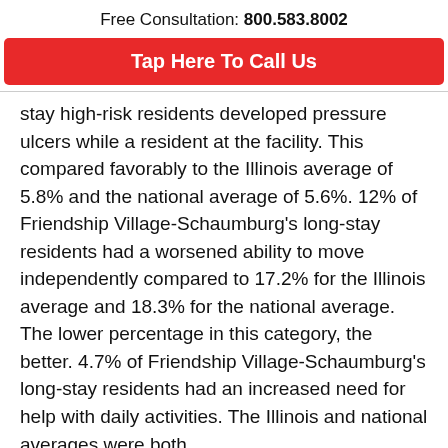Free Consultation: 800.583.8002
Tap Here To Call Us
stay high-risk residents developed pressure ulcers while a resident at the facility. This compared favorably to the Illinois average of 5.8% and the national average of 5.6%. 12% of Friendship Village-Schaumburg's long-stay residents had a worsened ability to move independently compared to 17.2% for the Illinois average and 18.3% for the national average. The lower percentage in this category, the better. 4.7% of Friendship Village-Schaumburg's long-stay residents had an increased need for help with daily activities. The Illinois and national averages were both